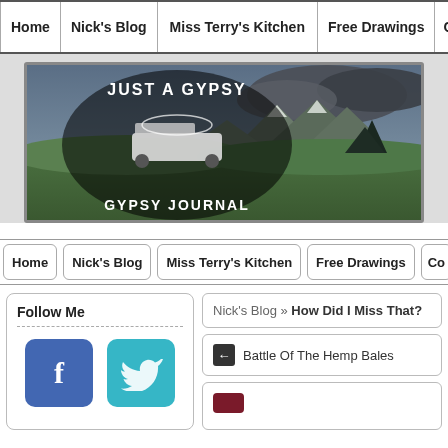Home | Nick's Blog | Miss Terry's Kitchen | Free Drawings | Conta
[Figure (illustration): Just A Gypsy Journal banner logo with RV and mountains landscape background]
Home | Nick's Blog | Miss Terry's Kitchen | Free Drawings | Co
Follow Me
[Figure (logo): Facebook icon button (blue)]
[Figure (logo): Twitter icon button (teal)]
Nick's Blog » How Did I Miss That?
← Battle Of The Hemp Bales